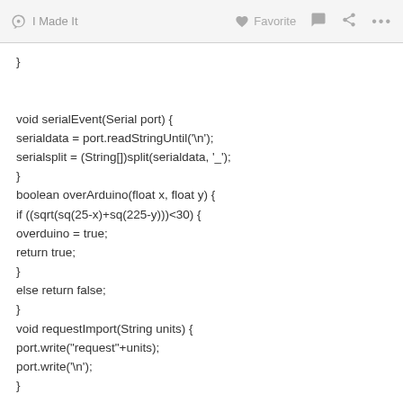I Made It   Favorite
}

void serialEvent(Serial port) {
serialdata = port.readStringUntil('\n');
serialsplit = (String[])split(serialdata, '_');
}
boolean overArduino(float x, float y) {
if ((sqrt(sq(25-x)+sq(225-y)))<30) {
overduino = true;
return true;
}
else return false;
}
void requestImport(String units) {
port.write("request"+units);
port.write('\n');
}